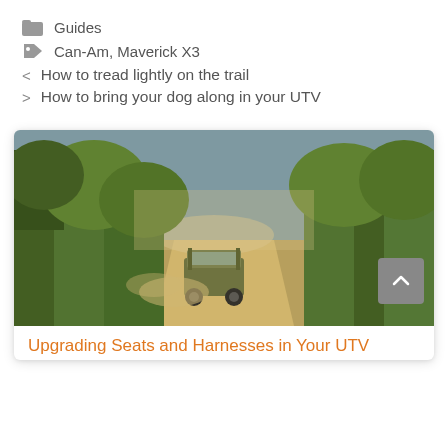Guides
Can-Am, Maverick X3
< How to tread lightly on the trail
> How to bring your dog along in your UTV
[Figure (photo): A UTV/side-by-side vehicle driving on a dusty dirt trail flanked by green trees with mountains in the background]
Upgrading Seats and Harnesses in Your UTV